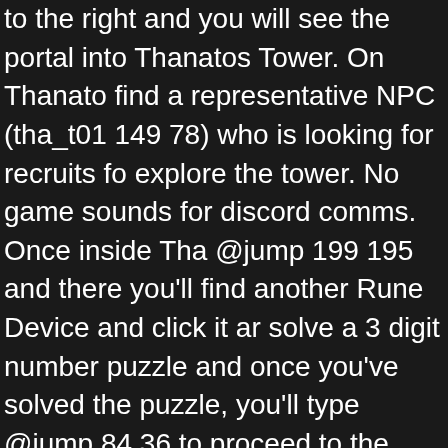to the right and you will see the portal into Thanatos Tower. On Thanatos find a representative NPC (tha_t01 149 78) who is looking for recruits fo explore the tower. No game sounds for discord comms. Once inside Tha @jump 199 195 and there you'll find another Rune Device and click it ar solve a 3 digit number puzzle and once you've solved the puzzle, you'll type @jump 84 36 to proceed to the next floor. Is it santa poring? You ca later. It's not required that you be in the same party to enter. Sign up wit for  the thana card, consider it done and an early Christmas Gift from m THE FREE WORLD DUDE! [Question][SEA] Thanatos tower 3F. 2. Type move towards the portal and then a dialogue box will appear and will rea converting it to Black Charm Stone and will be teleporting you to the sta floor. Thanatos is the personification of death and mortality in Greek My conquered second or third, the party receives one Ambrosia, but if it is c receive three. Lmao you are in my friend list in game, didn't know you m Tower Legend 4F: A budget build RG POV. You will need to gather 5 or guide open the door to 3F. Elder's item drop, stats, hit, flee, range, spee base exp, job exp, hp and sp. On Thanatos Tower 1F you should find a not required that you be in the same party to enter. Dont forget to give m Card when i get back so that I can use em for damage type Sura/Gene again during Xmas wahahahaha. save.   Your link has been automatical Ryu's Thanatos Guide~ Condensed Version. 70% chance of success. ... 3F Guide!! If you have an account, sign in now to post with your accoun RoM!notify!followage. On Thanatos Tower 1F find the Representative N